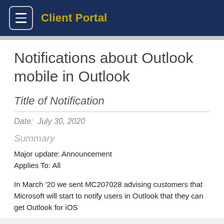Client Portal
Notifications about Outlook mobile in Outlook
Title of Notification
Date:  July 30, 2020
Summary
Major update: Announcement
Applies To: All
In March '20 we sent MC207028 advising customers that Microsoft will start to notify users in Outlook that they can get Outlook for iOS